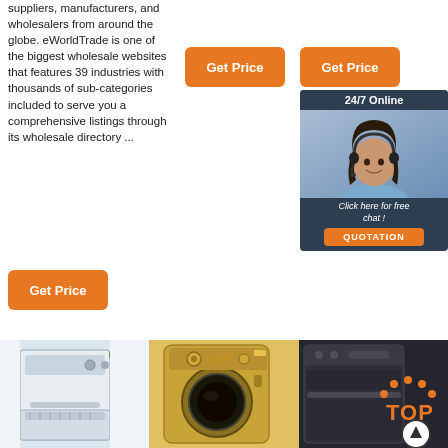suppliers, manufacturers, and wholesalers from around the globe. eWorldTrade is one of the biggest wholesale websites that features 39 industries with thousands of sub-categories included to serve you a comprehensive listings through its wholesale directory ...
[Figure (other): Orange 'Get Price' button (middle top area)]
[Figure (other): Orange 'Get Price' button (right top area)]
[Figure (other): 24/7 Online customer support chat box with photo of woman with headset, 'Click here for free chat!' text, and orange QUOTATION button]
[Figure (other): Orange 'Get Price' button (bottom left)]
[Figure (photo): Dishwasher product photo]
[Figure (photo): Washing machine product photo (gold/champagne color)]
[Figure (photo): Dishwasher product photo (dark/black) with TOP badge overlay]